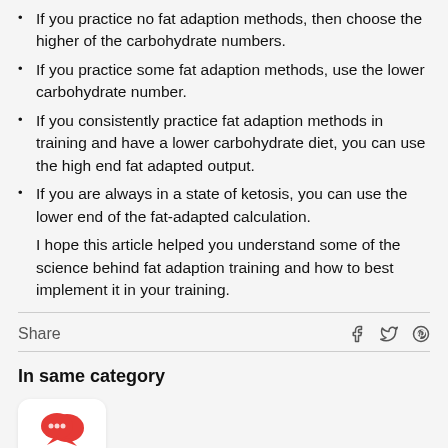If you practice no fat adaption methods, then choose the higher of the carbohydrate numbers.
If you practice some fat adaption methods, use the lower carbohydrate number.
If you consistently practice fat adaption methods in training and have a lower carbohydrate diet, you can use the high end fat adapted output.
If you are always in a state of ketosis, you can use the lower end of the fat-adapted calculation.
I hope this article helped you understand some of the science behind fat adaption training and how to best implement it in your training.
Share
In same category
[Figure (illustration): Red chat/speech bubble icon on a white rounded card]